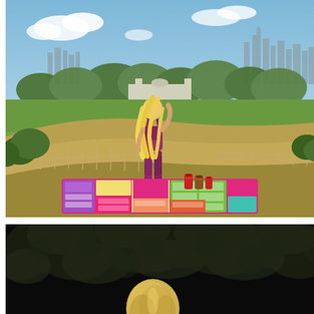[Figure (photo): Woman with long blonde hair in colorful snake-print sports bra and leggings standing on a grassy hill in Greenwich Park, London, looking away from camera toward the city skyline including Canary Wharf. She is standing barefoot on a colorful yoga mat decorated with a map-like design showing buildings. Small canisters/bottles sit on the mat. Trees and a wooden fence are visible on the hillside.]
[Figure (photo): Partially visible image: dark background (appears to be outdoors at night or in shade), with the top of a blonde person's head visible at the bottom of the frame.]